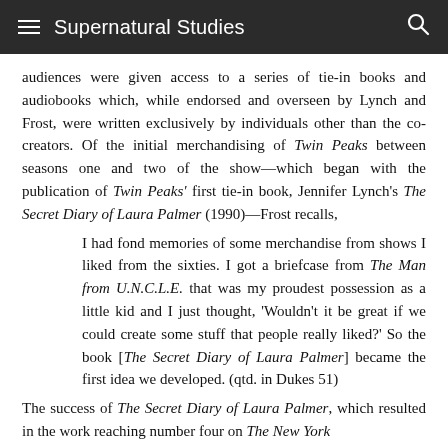≡  Supernatural Studies  🔍
audiences were given access to a series of tie-in books and audiobooks which, while endorsed and overseen by Lynch and Frost, were written exclusively by individuals other than the co-creators. Of the initial merchandising of Twin Peaks between seasons one and two of the show—which began with the publication of Twin Peaks' first tie-in book, Jennifer Lynch's The Secret Diary of Laura Palmer (1990)—Frost recalls,
I had fond memories of some merchandise from shows I liked from the sixties. I got a briefcase from The Man from U.N.C.L.E. that was my proudest possession as a little kid and I just thought, 'Wouldn't it be great if we could create some stuff that people really liked?' So the book [The Secret Diary of Laura Palmer] became the first idea we developed. (qtd. in Dukes 51)
The success of The Secret Diary of Laura Palmer, which resulted in the work reaching number four on The New York